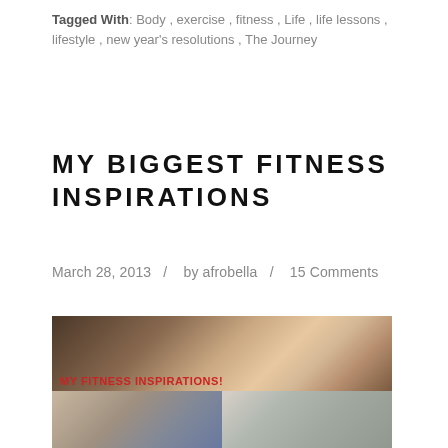Tagged With: Body, exercise, fitness, Life, life lessons, lifestyle, new year's resolutions, The Journey
MY BIGGEST FITNESS INSPIRATIONS
March 28, 2013  /  by afrobella  /  15 Comments
[Figure (photo): Fitness inspirations blog post image collage: top image shows a Black woman with natural hair flexing her bicep wearing a white top, with red text overlay reading MY FITNESS INSPIRATIONS!; bottom row shows two additional fitness-related images.]